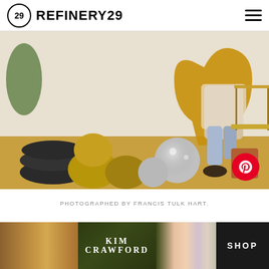REFINERY29
[Figure (photo): Woman sitting in a wicker peacock chair in a boho-styled room with disco balls, wicker baskets, a terra cotta pot, and shoes displayed on a gold-fringed table. She wears a patterned jacket, light jeans, and embellished flat shoes. A red Pinterest button is overlaid at lower right.]
PHOTOGRAPHED BY FRANCIS TULK HART.
ADVERTISEMENT
[Figure (photo): Kim Crawford wine advertisement banner showing dark olive/green background with KIM CRAWFORD text, wine bottles, and a SHOP button.]